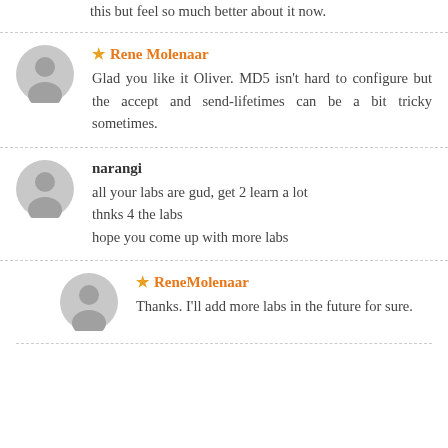this but feel so much better about it now.
★ Rene Molenaar
Glad you like it Oliver. MD5 isn't hard to configure but the accept and send-lifetimes can be a bit tricky sometimes.
narangi
all your labs are gud, get 2 learn a lot
thnks 4 the labs
hope you come up with more labs
★ ReneMolenaar
Thanks. I'll add more labs in the future for sure.